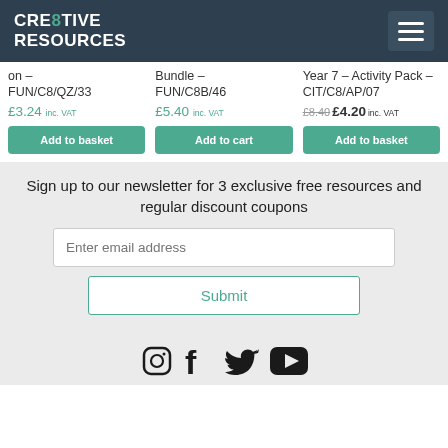CRE8TIVE RESOURCES — navigation header with hamburger menu
on – FUN/C8/QZ/33
£3.24 inc. VAT
Bundle – FUN/C8B/46
£5.40 inc. VAT
Year 7 – Activity Pack – CIT/C8/AP/07
£8.40 £4.20 inc. VAT
Add to basket
Add to cart
Add to basket
Sign up to our newsletter for 3 exclusive free resources and regular discount coupons
Enter email address
Submit
[Figure (other): Social media icons: Instagram, Facebook, Twitter/X, YouTube]